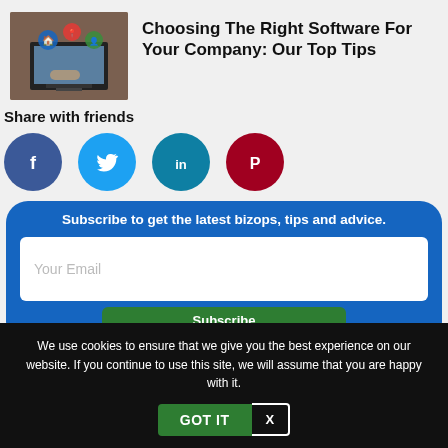[Figure (photo): Photo of a person using a laptop with digital social/app icons overlaid]
Choosing The Right Software For Your Company: Our Top Tips
Share with friends
[Figure (infographic): Social media share buttons: Facebook, Twitter, LinkedIn, Pinterest]
Subscribe to get the latest bizops, tips and advice.
Your Email
We use cookies to ensure that we give you the best experience on our website. If you continue to use this site, we will assume that you are happy with it.
GOT IT   X